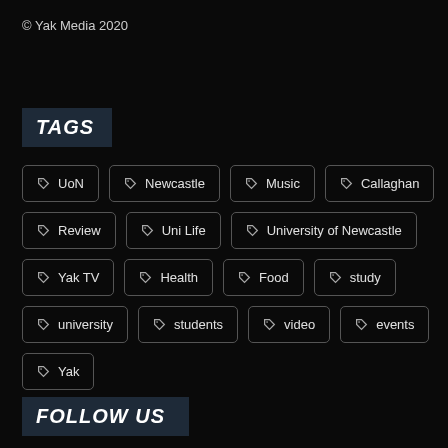© Yak Media 2020
TAGS
UoN
Newcastle
Music
Callaghan
Review
Uni Life
University of Newcastle
Yak TV
Health
Food
study
university
students
video
events
Yak
FOLLOW US